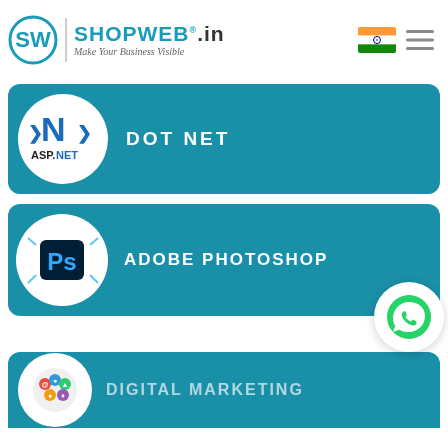[Figure (logo): ShopWeb.in logo with tagline 'Make Your Business Visible' and India flag and hamburger menu icon]
[Figure (illustration): Teal card with ASP.NET logo circle and text DOT NET]
[Figure (illustration): Teal card with Adobe Photoshop Ps logo circle and text ADOBE PHOTOSHOP, with WhatsApp icon bubble]
[Figure (illustration): Partial teal card with digital marketing icon circle and partially visible text DIGITAL MARKETING]